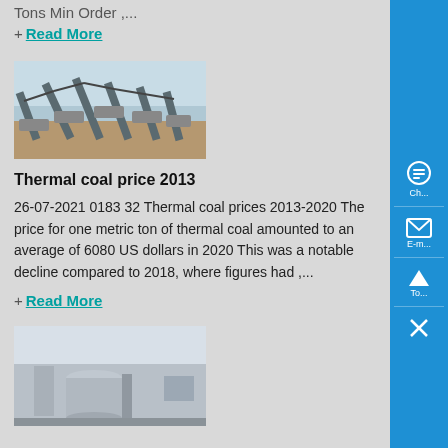Tons Min Order ,...
+ Read More
[Figure (photo): Industrial coal processing or conveyor belt facility, outdoor industrial site]
Thermal coal price 2013
26-07-2021 0183 32 Thermal coal prices 2013-2020 The price for one metric ton of thermal coal amounted to an average of 6080 US dollars in 2020 This was a notable decline compared to 2018, where figures had ,...
+ Read More
[Figure (photo): Industrial plant or facility, partial view, exterior shot]